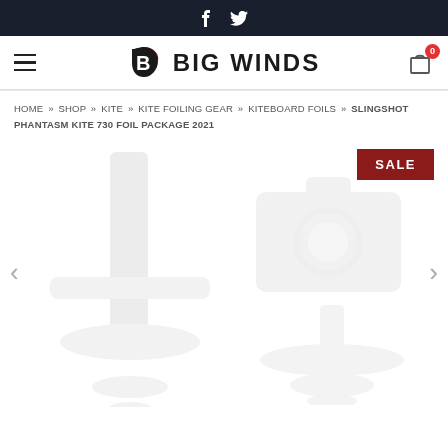f  (twitter bird)
[Figure (logo): Big Winds logo with stylized B and shopping cart icon with badge 0]
HOME » SHOP » KITE » KITE FOILING GEAR » KITEBOARD FOILS » SLINGSHOT PHANTASM KITE 730 FOIL PACKAGE 2021
[Figure (photo): Product image placeholder showing foil components in light gray on white background, with a SALE badge in dark red in the top right corner, and left/right navigation arrows]